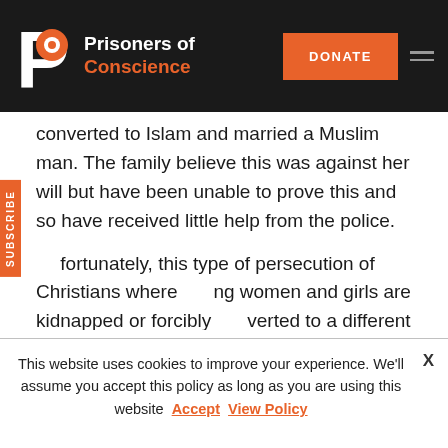[Figure (logo): Prisoners of Conscience website header with logo, DONATE button, and hamburger menu on dark background]
converted to Islam and married a Muslim man. The family believe this was against her will but have been unable to prove this and so have received little help from the police.
Unfortunately, this type of persecution of Christians where young women and girls are kidnapped or forcibly converted to a different faith, is common. As too is sexual and physical violence, and social isolation.
In some countries, persecution occurs because of authoritarian governments who seek to control all religious thought and expression. In others, it is due to suspicion of
This website uses cookies to improve your experience. We'll assume you accept this policy as long as you are using this website  Accept  View Policy